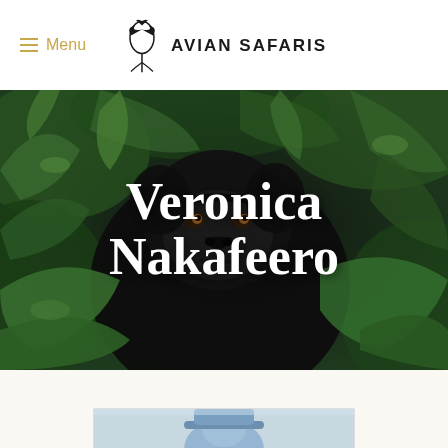≡ Menu  AVIAN SAFARIS
[Figure (photo): Close-up photograph of a gorilla face partially obscured by green jungle foliage, looking directly at camera with brown eyes. Dense tropical vegetation surrounds the gorilla.]
Veronica Nakafeero
[Figure (photo): Partial view of a profile photo card at bottom of page, showing the top of a person wearing a blue hat against a light background.]